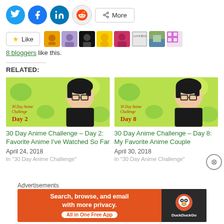[Figure (screenshot): Social share buttons: Twitter, Facebook, LinkedIn, Reddit, More]
[Figure (screenshot): Like button and 8 blogger avatars]
8 bloggers like this.
RELATED:
[Figure (screenshot): Thumbnail for 30 Day Anime Challenge Day 2]
30 Day Anime Challenge – Day 2: Favorite Anime I've Watched So Far
April 24, 2018
[Figure (screenshot): Thumbnail for 30 Day Anime Challenge Day 8]
30 Day Anime Challenge – Day 8: My Favorite Anime Couple
April 30, 2018
Advertisements
[Figure (screenshot): DuckDuckGo advertisement banner: Search, browse, and email with more privacy. All in One Free App]